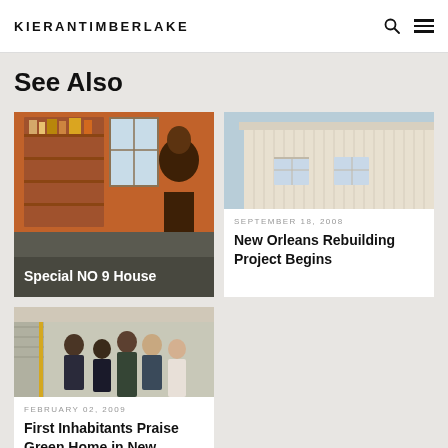KieranTimberlake
See Also
[Figure (photo): Interior room with orange walls, bookshelves filled with photos and objects, and a smiling woman. Caption overlay: Special NO 9 House]
Special NO 9 House
[Figure (photo): Exterior of a white building with vertical siding and windows against a blue sky]
SEPTEMBER 18, 2008
New Orleans Rebuilding Project Begins
[Figure (photo): Group of five people standing together outdoors near stairs]
FEBRUARY 02, 2009
First Inhabitants Praise Green Home in New Orleans